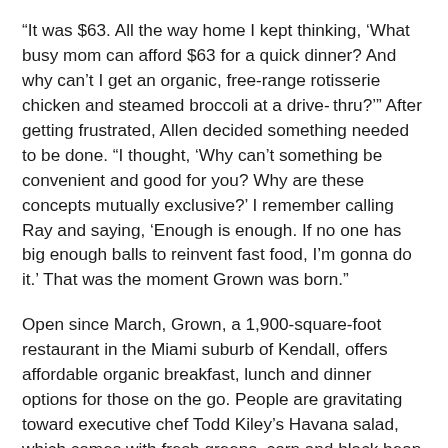“It was $63. All the way home I kept thinking, ‘What busy mom can afford $63 for a quick dinner? And why can’t I get an organic, free-range rotisserie chicken and steamed broccoli at a drive- thru?’” After getting frustrated, Allen decided something needed to be done. “I thought, ‘Why can’t something be convenient and good for you? Why are these concepts mutually exclusive?’ I remember calling Ray and saying, ‘Enough is enough. If no one has big enough balls to reinvent fast food, I’m gonna do it.’ That was the moment Grown was born.”
Open since March, Grown, a 1,900-square-foot restaurant in the Miami suburb of Kendall, offers affordable organic breakfast, lunch and dinner options for those on the go. People are gravitating toward executive chef Todd Kiley’s Havana salad, which comes with fresh greens, corn and black bean salsa, white cheddar cheese, avocado, tortilla strips, and salsa fresca with a cilantro lime vinaigrette. Other popular options include the gluten-free Mediterranean wrap,